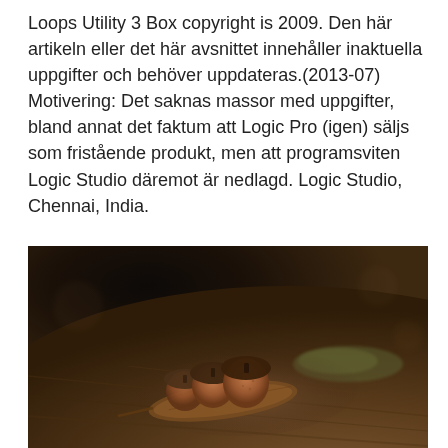Loops Utility 3 Box copyright is 2009. Den här artikeln eller det här avsnittet innehåller inaktuella uppgifter och behöver uppdateras.(2013-07) Motivering: Det saknas massor med uppgifter, bland annat det faktum att Logic Pro (igen) säljs som fristående produkt, men att programsviten Logic Studio däremot är nedlagd. Logic Studio, Chennai, India.
[Figure (photo): Close-up photograph of acorns resting on a dried leaf on a wooden surface, warm dark tones with bokeh background.]